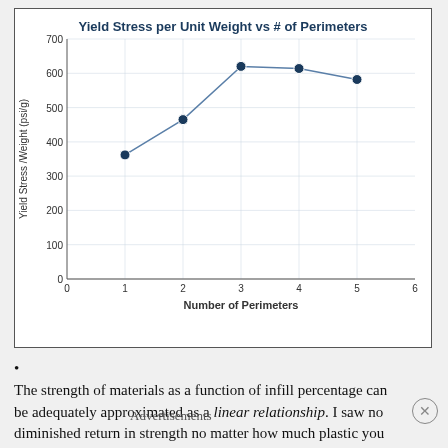[Figure (line-chart): Yield Stress per Unit Weight vs # of Perimeters]
The strength of materials as a function of infill percentage can be adequately approximated as a linear relationship. I saw no diminished return in strength no matter how much plastic you
Advertisements